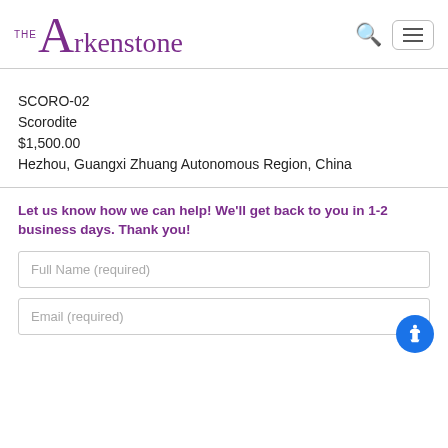THE Arkenstone
SCORO-02
Scorodite
$1,500.00
Hezhou, Guangxi Zhuang Autonomous Region, China
Let us know how we can help! We'll get back to you in 1-2 business days. Thank you!
Full Name (required)
Email (required)